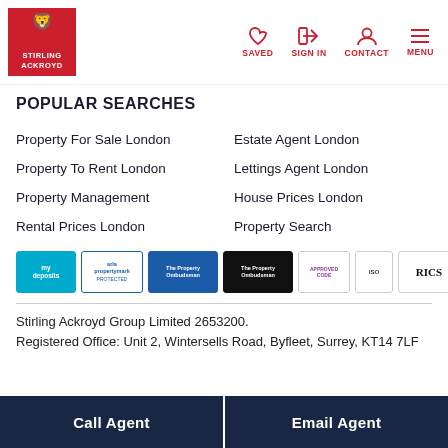Stirling Ackroyd — SAVED | SIGN IN | CONTACT | MENU
POPULAR SEARCHES
Property For Sale London
Property To Rent London
Property Management
Rental Prices London
Estate Agent London
Lettings Agent London
House Prices London
Property Search
[Figure (logo): Row of accreditation logos: mydeposits, arla propertymark protected, The Property Ombudsman (white bg), The Property Ombudsman (black bg), Approved Code, ISO badge, RICS]
Stirling Ackroyd Group Limited 2653200.
Registered Office: Unit 2, Wintersells Road, Byfleet, Surrey, KT14 7LF
Call Agent | Email Agent